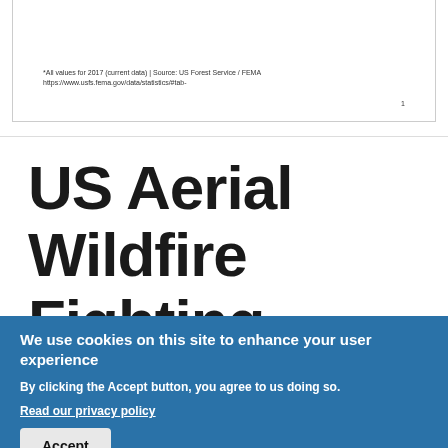*All values for 2017 (current data) | Source: US Forest Service / FEMA https://www.usfs.fema.gov/data/statistics/#tab-
US Aerial Wildfire Fighting Capacity
We use cookies on this site to enhance your user experience
By clicking the Accept button, you agree to us doing so.
Read our privacy policy